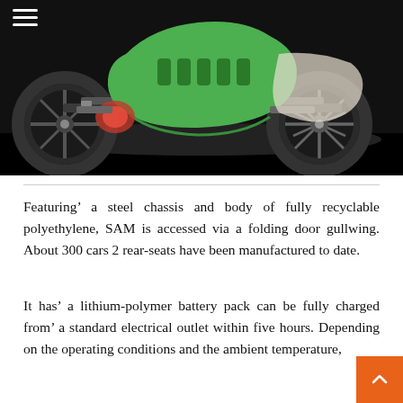[Figure (photo): Underside/chassis view of an electric vehicle (SAM) with green polyethylene body panels, black wheels, and mechanical components visible, set against a dark background. A hamburger menu icon is visible in the top-left corner.]
Featuring’ a steel chassis and body of fully recyclable polyethylene, SAM is accessed via a folding door gullwing. About 300 cars 2 rear-seats have been manufactured to date.
It has’ a lithium-polymer battery pack can be fully charged from’ a standard electrical outlet within five hours. Depending on the operating conditions and the ambient temperature, …